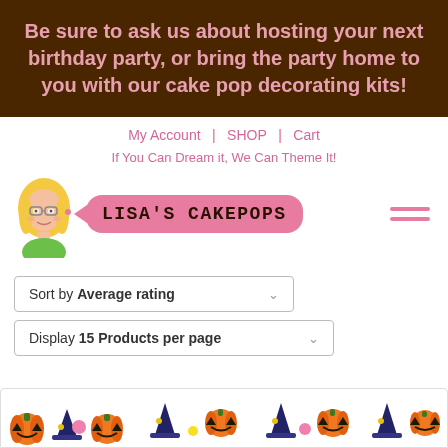Be sure to ask us about hosting your next birthday party, or bring the party home to you with our cake pop decorating kits!
My Account | SHOP | Cart
If You Can Dream it, We Can Theme It!
[Figure (logo): Lisa's Cakepops logo with illustrated blonde woman avatar and pink speech bubble with text LISA'S CAKEPOPS]
Sort by Average rating
Display 15 Products per page
[Figure (illustration): Halloween themed decorative banner with pumpkins and witch hats]